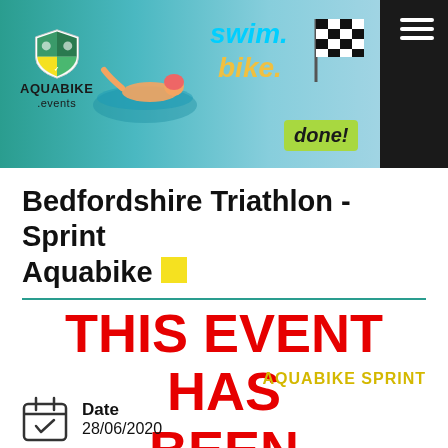[Figure (illustration): Aquabike.events website header banner showing a swimmer, cyclist, checkered flag, and text 'swim. bike. done!' with hamburger menu icon]
Bedfordshire Triathlon - Sprint Aquabike
THIS EVENT HAS BEEN CANCELLED
Please check the event's website for further details.
AQUABIKE SPRINT
Date
28/06/2020